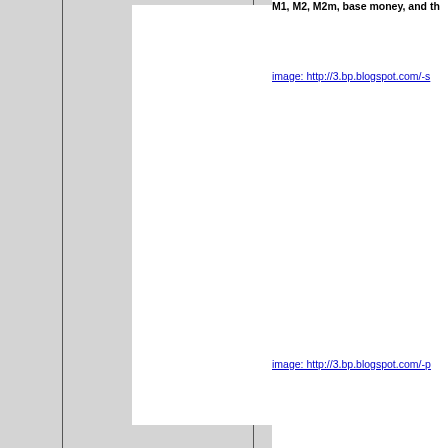M1, M2, M2m, base money, and th
[Figure (other): Gray bordered panel with white interior, partially visible on left side of page]
image: http://3.bp.blogspot.com/-s
image: http://3.bp.blogspot.com/-p